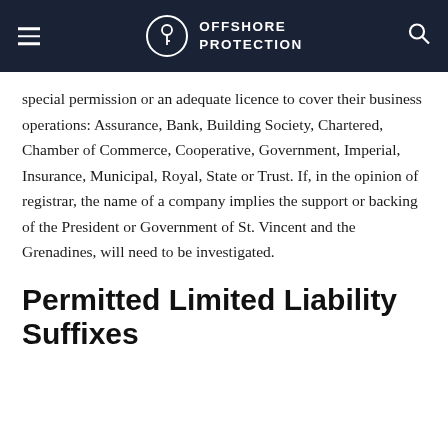Offshore Protection
special permission or an adequate licence to cover their business operations: Assurance, Bank, Building Society, Chartered, Chamber of Commerce, Cooperative, Government, Imperial, Insurance, Municipal, Royal, State or Trust. If, in the opinion of registrar, the name of a company implies the support or backing of the President or Government of St. Vincent and the Grenadines, will need to be investigated.
Permitted Limited Liability Suffixes